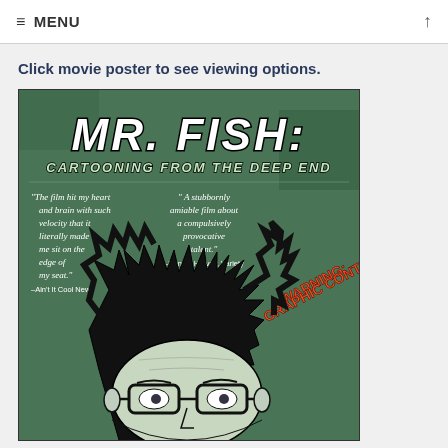≡ MENU ↑
Click movie poster to see viewing options.
[Figure (illustration): Movie poster for 'Mr. Fish: Cartooning from the Deep End'. Dark green textured background with large stylized title text. Two pull quotes: left: '"The film hit my heart and brain with such velocity that it literally made me sit on the edge of my seat." –Ain't It Cool News'; right: '"A stubbornly amiable film about a compulsively provocative talent." –Dennis Harvey, Variety'. Warning: Graphic Content text in orange at lower right. Bottom half shows a black ink illustration of a man with wild hair and glasses.]